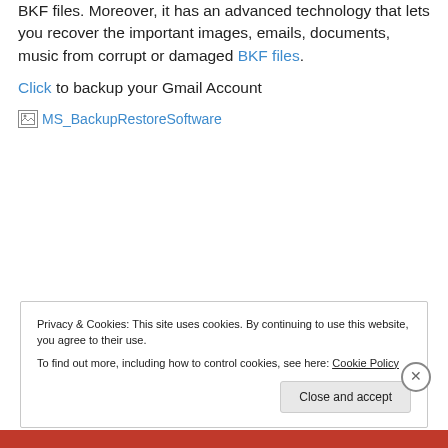BKF files. Moreover, it has an advanced technology that lets you recover the important images, emails, documents, music from corrupt or damaged BKF files.
Click to backup your Gmail Account
[Figure (other): Broken image placeholder showing alt text 'MS_BackupRestoreSoftware']
Privacy & Cookies: This site uses cookies. By continuing to use this website, you agree to their use. To find out more, including how to control cookies, see here: Cookie Policy